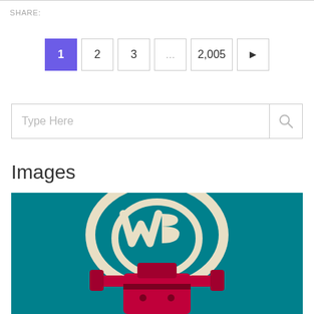SHARE:
[Figure (other): Pagination controls showing pages 1 (active/purple), 2, 3, ..., 2,005 and a next arrow button]
[Figure (other): Search input field with placeholder text 'Type Here' and a search magnifying glass icon on the right]
Images
[Figure (photo): Warner Bros WB logo on a teal background with a red/magenta robot or toy figure beneath it]